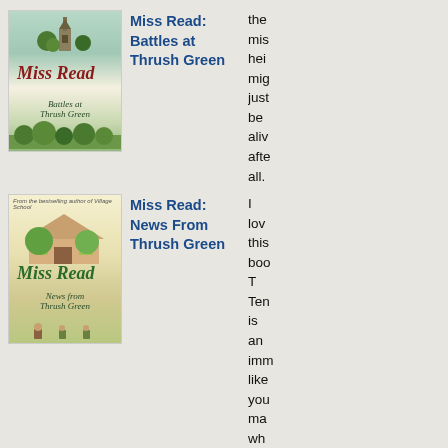[Figure (illustration): Book cover for Miss Read: Battles at Thrush Green, showing a church and village scene in green and cream tones]
Miss Read: Battles at Thrush Green
the mis hei mig just be aliv afte all.
[Figure (illustration): Book cover for Miss Read: News From Thrush Green, showing a thatched cottage in yellow-green tones]
Miss Read: News From Thrush Green
I lov this boo T Ten is an imm like you ma wh
[Figure (illustration): Book cover for Miss Read: Winter in Thrush Green, showing a snow winter village scene in blue and cream tones]
Miss Read: Winter in Thrush Green
is an imm like you ma wh